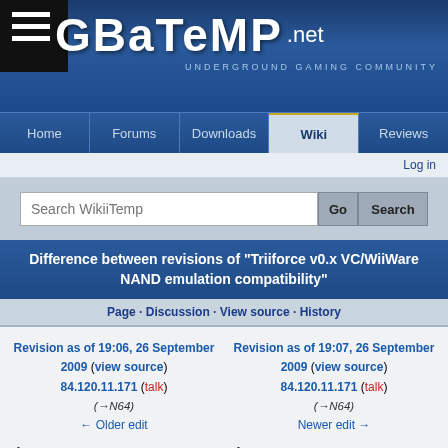[Figure (screenshot): GBAtemp.net website header banner with logo and navigation]
GBATEMP .NET — UNDERGROUND GAMING COMMUNITY
Home · Forums · Downloads · Wiki · Reviews
Log in
Search WikiiTemp
Difference between revisions of "Triiforce v0.x VC/WiiWare NAND emulation compatibility"
Page · Discussion · View source · History
Revision as of 19:06, 26 September 2009 (view source)
84.120.11.171 (talk)
(→N64)
← Older edit
Revision as of 19:07, 26 September 2009 (view source)
84.120.11.171 (talk)
(→N64)
Newer edit →
Line 410:
Line 410:
|-
|-